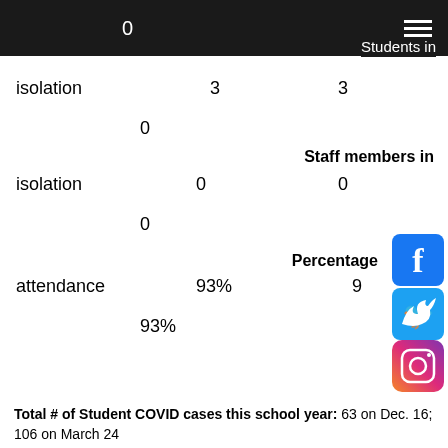0   Students in
isolation   3   3
0
Staff members in isolation   0   0
0
Percentage attendance   93%   9   93%
Total # of Student COVID cases this school year: 63 on Dec. 16; 106 on March 24
Total # of Staff cases this school year: 2 on Dec. 16; 14 on March 24
Total # of Students in Quarantine this school year: 64